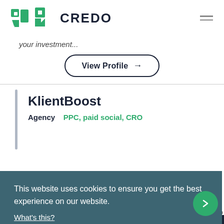CREDO
your investment...
View Profile →
KlientBoost
Agency   PPC, paid social, CRO
This website uses cookies to ensure you get the best experience on our website.
What's this?
Got it